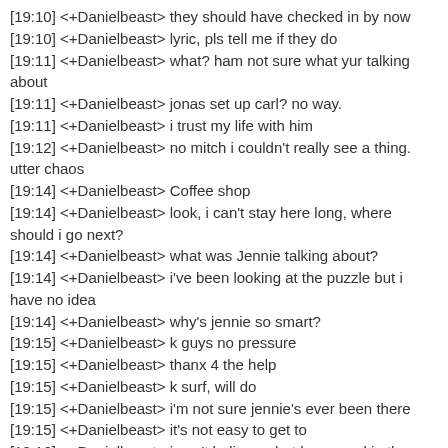[19:10] <+Danielbeast> they should have checked in by now
[19:10] <+Danielbeast> lyric, pls tell me if they do
[19:11] <+Danielbeast> what? ham not sure what yur talking about
[19:11] <+Danielbeast> jonas set up carl? no way.
[19:11] <+Danielbeast> i trust my life with him
[19:12] <+Danielbeast> no mitch i couldn't really see a thing. utter chaos
[19:14] <+Danielbeast> Coffee shop
[19:14] <+Danielbeast> look, i can't stay here long, where should i go next?
[19:14] <+Danielbeast> what was Jennie talking about?
[19:14] <+Danielbeast> i've been looking at the puzzle but i have no idea
[19:14] <+Danielbeast> why's jennie so smart?
[19:15] <+Danielbeast> k guys no pressure
[19:15] <+Danielbeast> thanx 4 the help
[19:15] <+Danielbeast> k surf, will do
[19:15] <+Danielbeast> i'm not sure jennie's ever been there
[19:15] <+Danielbeast> it's not easy to get to
[19:16] <+Danielbeast> i can't believe what happened in there